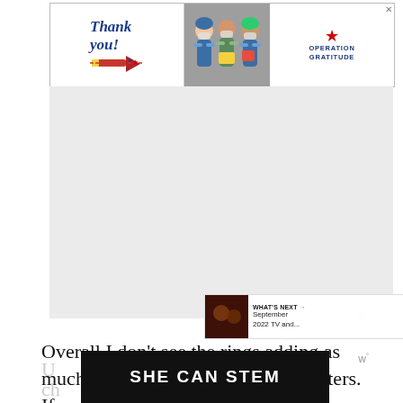[Figure (photo): Advertisement banner: 'Thank you!' handwritten text with pencils graphic on left, photo of masked healthcare workers holding cards in middle, Operation Gratitude logo with star on right. X close button in top-right corner.]
[Figure (photo): Large gray advertisement placeholder block with 'w°' wordmark in bottom-right corner.]
Overall I don't see the rings adding as much to the game as the new characters. If a particular ring is useful for your strategy you might get a lot of use out of them. I could see a lot of players mostly ignoring the new rings though. While the rings are a nice a think the driving force behind picking up The
[Figure (screenshot): Floating UI: green circular heart/like button, gray circular share button with arrows icon, and 'WHAT'S NEXT → September 2022 TV and...' panel with thumbnail image]
[Figure (photo): Bottom advertisement banner with dark background showing 'SHE CAN STEM' text in white bold letters. Partially visible 'w°' wordmark to the right.]